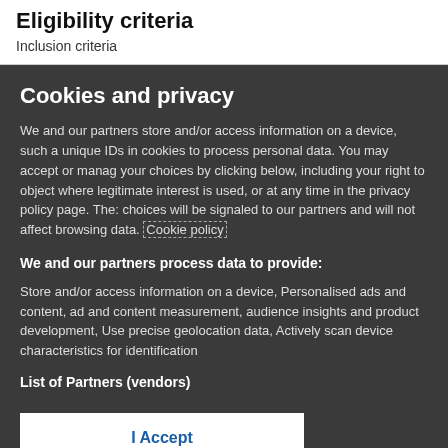Eligibility criteria
Inclusion criteria
Cookies and privacy
We and our partners store and/or access information on a device, such as unique IDs in cookies to process personal data. You may accept or manage your choices by clicking below, including your right to object where legitimate interest is used, or at any time in the privacy policy page. These choices will be signaled to our partners and will not affect browsing data. Cookie policy
We and our partners process data to provide:
Store and/or access information on a device, Personalised ads and content, ad and content measurement, audience insights and product development, Use precise geolocation data, Actively scan device characteristics for identification
List of Partners (vendors)
I Accept